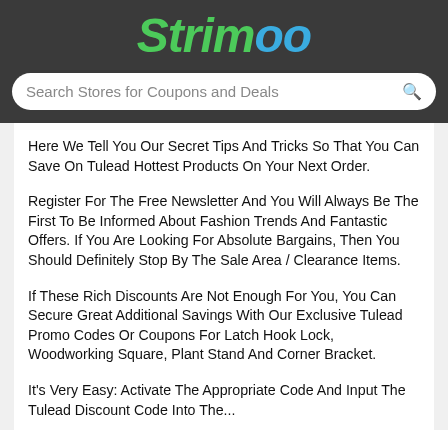Strimoo
Search Stores for Coupons and Deals
Here We Tell You Our Secret Tips And Tricks So That You Can Save On Tulead Hottest Products On Your Next Order.
Register For The Free Newsletter And You Will Always Be The First To Be Informed About Fashion Trends And Fantastic Offers. If You Are Looking For Absolute Bargains, Then You Should Definitely Stop By The Sale Area / Clearance Items.
If These Rich Discounts Are Not Enough For You, You Can Secure Great Additional Savings With Our Exclusive Tulead Promo Codes Or Coupons For Latch Hook Lock, Woodworking Square, Plant Stand And Corner Bracket.
It's Very Easy: Activate The Appropriate Code And Input The Tulead Discount Code Into The...